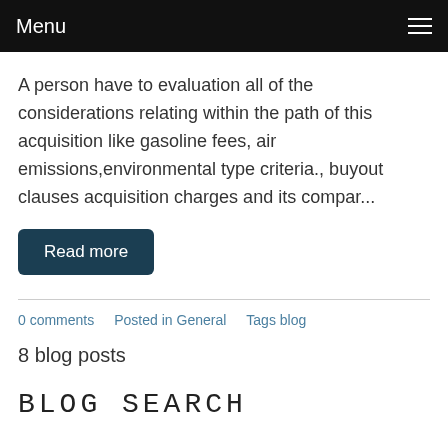Menu
A person have to evaluation all of the considerations relating within the path of this acquisition like gasoline fees, air emissions,environmental type criteria., buyout clauses acquisition charges and its compar...
Read more
0 comments   Posted in General   Tags blog
8 blog posts
BLOG SEARCH